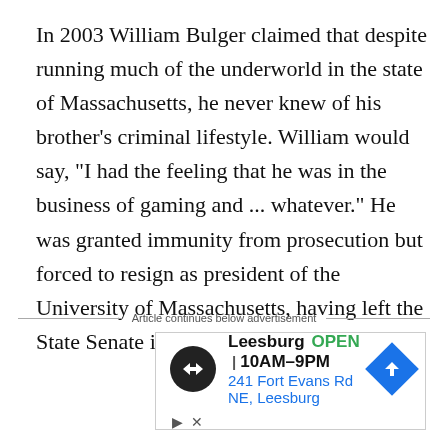In 2003 William Bulger claimed that despite running much of the underworld in the state of Massachusetts, he never knew of his brother's criminal lifestyle. William would say, "I had the feeling that he was in the business of gaming and ... whatever." He was granted immunity from prosecution but forced to resign as president of the University of Massachusetts, having left the State Senate in 1996.
Article continues below advertisement
[Figure (other): Advertisement box showing Leesburg business with logo, OPEN status, hours 10AM-9PM, address 241 Fort Evans Rd NE, Leesburg, and a navigation arrow icon]